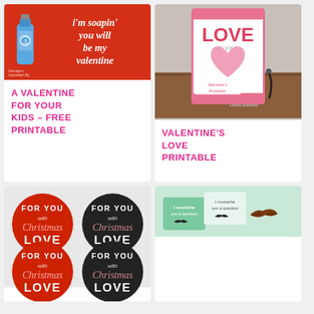[Figure (photo): Valentine card with soap bottle and text 'i'm soapin' you will be my valentine' on red background]
A VALENTINE FOR YOUR KIDS – FREE PRINTABLE
[Figure (photo): Valentine's love printable framed on wooden stand with LOVE in your heart design]
VALENTINE'S LOVE PRINTABLE
[Figure (photo): Four circular badges with 'FOR YOU WITH Christmas LOVE' in red and black versions]
[Figure (photo): Mustache valentine cards with 'I mustache you a question' text and chocolate mustache]